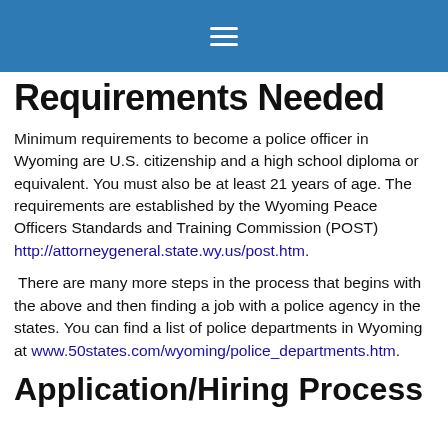≡
Requirements Needed
Minimum requirements to become a police officer in Wyoming are U.S. citizenship and a high school diploma or equivalent. You must also be at least 21 years of age. The requirements are established by the Wyoming Peace Officers Standards and Training Commission (POST) http://attorneygeneral.state.wy.us/post.htm.
There are many more steps in the process that begins with the above and then finding a job with a police agency in the states. You can find a list of police departments in Wyoming at www.50states.com/wyoming/police_departments.htm.
Application/Hiring Process